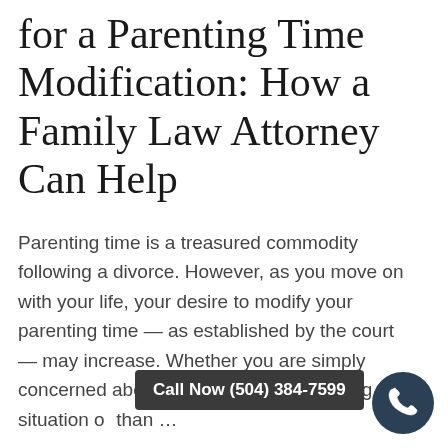for a Parenting Time Modification: How a Family Law Attorney Can Help
Parenting time is a treasured commodity following a divorce. However, as you move on with your life, your desire to modify your parenting time — as established by the court — may increase. Whether you are simply concerned about your child's current living situation o… than …